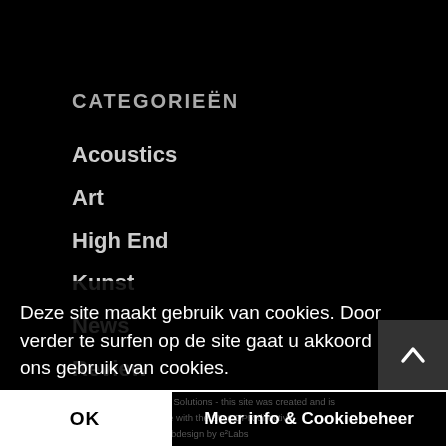CATEGORIEËN
Acoustics
Art
High End
Kunst
News
Review
Deze site maakt gebruik van cookies. Door verder te surfen op de site gaat u akkoord met ons gebruik van cookies.
© Copyright - Very Fine Solutions - this site was created and is managed in accordance with the EU GDPR directive.
Privacy & Cookies | Webdesign by e²Labs